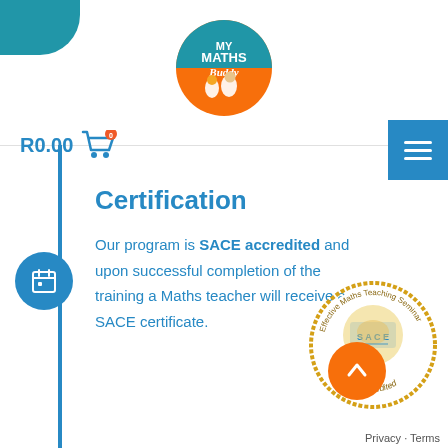[Figure (logo): My Maths Buddy logo - circular badge with orange and teal colors showing two figures and text 'MY MATHS Buddy']
R0.00
[Figure (illustration): Shopping cart icon with orange badge showing '0']
[Figure (illustration): Hamburger menu button (3 horizontal lines) in blue square]
Certification
Our program is SACE accredited and upon successful completion of the training a Maths teacher will receive a SACE certificate.
[Figure (logo): SACE Accredited seal - circular badge with gold border reading 'Effective Maths Teaching Seminar' and 'SACE Accredited']
[Figure (illustration): Orange circular button with upward chevron arrow]
Privacy · Terms